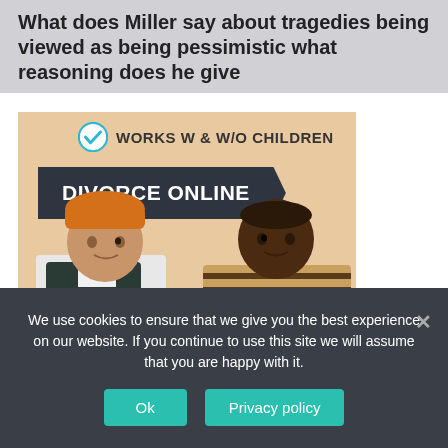What does Miller say about tragedies being viewed as being pessimistic what reasoning does he give
[Figure (infographic): Advertisement for Divorce Online service. Shows a checkmark icon with text 'WORKS W & W/O CHILDREN', a dark arrow banner reading 'DIVORCE ONLINE', and a photo of two people (a man in an orange beanie and dark vest, and a woman in a striped top) sitting on a dark sofa looking at each other against a beige background.]
We use cookies to ensure that we give you the best experience on our website. If you continue to use this site we will assume that you are happy with it.
Ok
Privacy policy